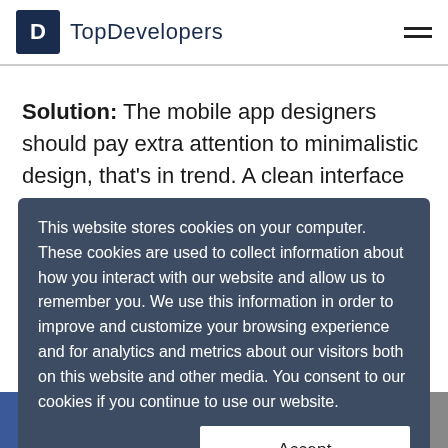TopDevelopers
Solution: The mobile app designers should pay extra attention to minimalistic design, that's in trend. A clean interface with an optimal number of designs and no resolution issues is preferred.
This website stores cookies on your computer. These cookies are used to collect information about how you interact with our website and allow us to remember you. We use this information in order to improve and customize your browsing experience and for analytics and metrics about our visitors both on this website and other media. You consent to our cookies if you continue to use our website.
Accept
f  Twitter  in  Email